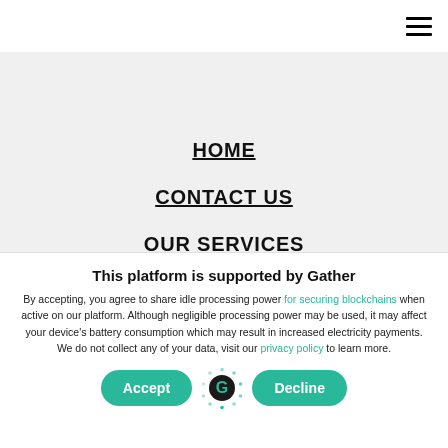≡ (hamburger menu icon)
HOME
CONTACT US
OUR SERVICES
This platform is supported by Gather
By accepting, you agree to share idle processing power for securing blockchains when active on our platform. Although negligible processing power may be used, it may affect your device's battery consumption which may result in increased electricity payments. We do not collect any of your data, visit our privacy policy to learn more.
Accept | [Gather logo] | Decline